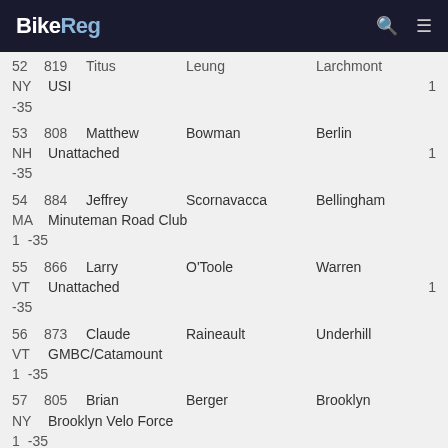BikeReg
| Rank | Bib | First | Last | City | State | Club | Pts | Cat |
| --- | --- | --- | --- | --- | --- | --- | --- | --- |
| 52 | 819 | Titus | Leung | Larchmont | NY | USI | 1 | -35 |
| 53 | 808 | Matthew | Bowman | Berlin | NH | Unattached | 1 | -35 |
| 54 | 884 | Jeffrey | Scornavacca | Bellingham | MA | Minuteman Road Club | 1 | -35 |
| 55 | 866 | Larry | O'Toole | Warren | VT | Unattached | 1 | -35 |
| 56 | 873 | Claude | Raineault | Underhill | VT | GMBC/Catamount | 1 | -35 |
| 57 | 805 | Brian | Berger | Brooklyn | NY | Brooklyn Velo Force | 1 | -35 |